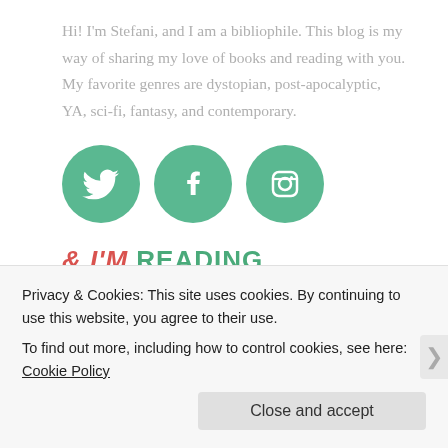Hi! I'm Stefani, and I am a bibliophile. This blog is my way of sharing my love of books and reading with you. My favorite genres are dystopian, post-apocalyptic, YA, sci-fi, fantasy, and contemporary.
[Figure (illustration): Three green circular social media icons: Twitter (bird icon), Facebook (f icon), Instagram (camera icon)]
& I'M READING
& I'VE WRITTEN
Privacy & Cookies: This site uses cookies. By continuing to use this website, you agree to their use.
To find out more, including how to control cookies, see here: Cookie Policy
Close and accept